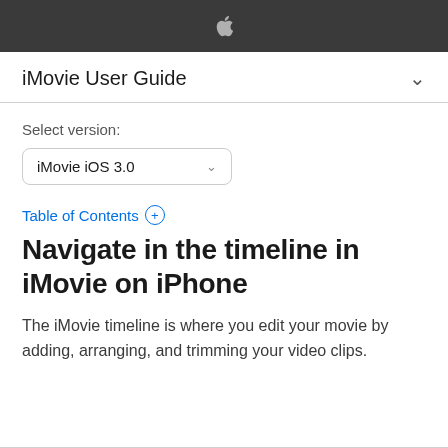Apple logo header bar
iMovie User Guide
Select version:
iMovie iOS 3.0
Table of Contents +
Navigate in the timeline in iMovie on iPhone
The iMovie timeline is where you edit your movie by adding, arranging, and trimming your video clips.